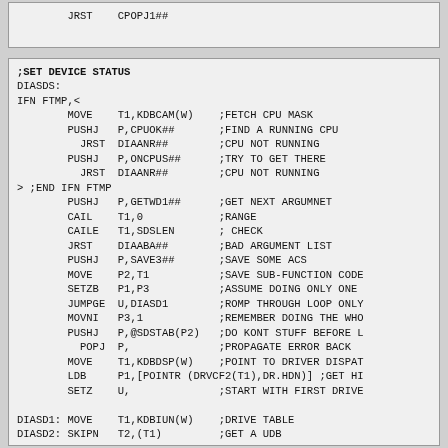JRST    CPOPJ1##
;SET DEVICE STATUS
DIASDS:
IFN FTMP,<
        MOVE    T1,KDBCAM(W)    ;FETCH CPU MASK
        PUSHJ   P,CPUOK##       ;FIND A RUNNING CPU
          JRST  DIAANR##        ;CPU NOT RUNNING
        PUSHJ   P,ONCPUS##      ;TRY TO GET THERE
          JRST  DIAANR##        ;CPU NOT RUNNING
> ;END IFN FTMP
        PUSHJ   P,GETWD1##      ;GET NEXT ARGUMNET
        CAIL    T1,0            ;RANGE
        CAILE   T1,SDSLEN       ; CHECK
        JRST    DIAABA##        ;BAD ARGUMENT LIST
        PUSHJ   P,SAVE3##       ;SAVE SOME ACS
        MOVE    P2,T1           ;SAVE SUB-FUNCTION CODE
        SETZB   P1,P3           ;ASSUME DOING ONLY ONE 
        JUMPGE  U,DIASD1        ;ROMP THROUGH LOOP ONLY
        MOVNI   P3,1            ;REMEMBER DOING THE WHO
        PUSHJ   P,@SDSTAB(P2)   ;DO KONT STUFF BEFORE L
          POPJ  P,              ;PROPAGATE ERROR BACK
        MOVE    T1,KDBDSP(W)    ;POINT TO DRIVER DISPAT
        LDB     P1,[POINTR (DRVCF2(T1),DR.HDN)] ;GET HI
        SETZ    U,              ;START WITH FIRST DRIVE

DIASD1: MOVE    T1,KDBIUN(W)    ;DRIVE TABLE
DIASD2: SKIPN   T2,(T1)         ;GET A UDB